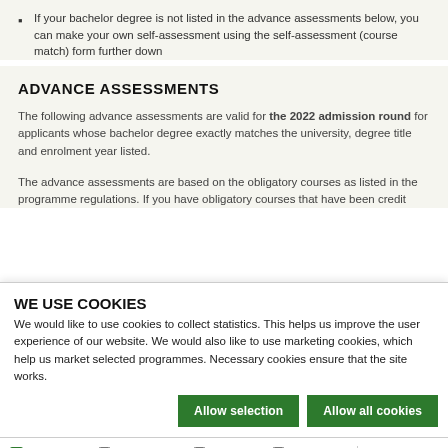If your bachelor degree is not listed in the advance assessments below, you can make your own self-assessment using the self-assessment (course match) form further down
ADVANCE ASSESSMENTS
The following advance assessments are valid for the 2022 admission round for applicants whose bachelor degree exactly matches the university, degree title and enrolment year listed.
The advance assessments are based on the obligatory courses as listed in the programme regulations. If you have obligatory courses that have been credit
WE USE COOKIES
We would like to use cookies to collect statistics. This helps us improve the user experience of our website. We would also like to use marketing cookies, which help us market selected programmes. Necessary cookies ensure that the site works.
Allow selection | Allow all cookies
Necessary  Preferences  Statistics  Marketing  Show details